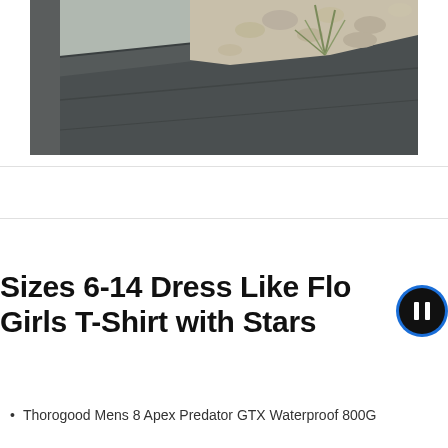[Figure (photo): Outdoor photo showing dark grey slate/concrete paving slabs with gravel and grass in background]
Sizes 6-14 Dress Like Flo Girls T-Shirt with Stars
Thorogood Mens 8 Apex Predator GTX Waterproof 800G